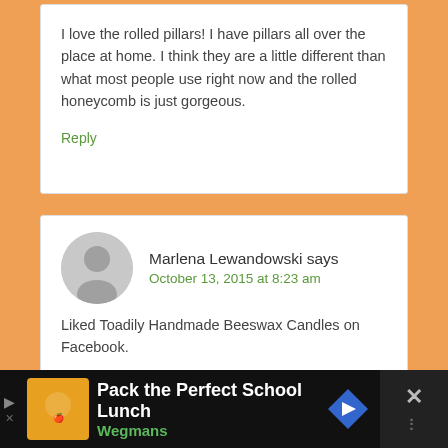I love the rolled pillars! I have pillars all over the place at home. I think they are a little different than what most people use right now and the rolled honeycomb is just gorgeous.
Reply
Marlena Lewandowski says
October 13, 2015 at 8:23 am
Liked Toadily Handmade Beeswax Candles on Facebook.
Reply
[Figure (screenshot): Advertisement banner: Pack the Perfect School Lunch - Wegmans, with orange square logo, blue diamond arrow icon, and close button on right]